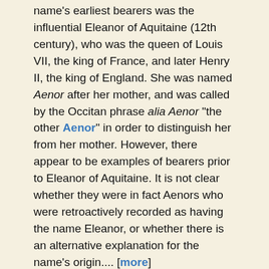name's earliest bearers was the influential Eleanor of Aquitaine (12th century), who was the queen of Louis VII, the king of France, and later Henry II, the king of England. She was named Aenor after her mother, and was called by the Occitan phrase alia Aenor "the other Aenor" in order to distinguish her from her mother. However, there appear to be examples of bearers prior to Eleanor of Aquitaine. It is not clear whether they were in fact Aenors who were retroactively recorded as having the name Eleanor, or whether there is an alternative explanation for the name's origin.... [more]
Eris   f   Greek Mythology
Means "strife" in Greek. In Greek mythology Eris was the goddess of discord. She was the sister and companion of Ares.
Fred   m   English, Dutch, German, French, Portuguese, Swedish, Norwegian
Short form of Frederick and other names containing the same element. A famous bearer was the American actor and dancer Fred Astaire (1899-1987).
Gladys   f   Welsh, English, French, Spanish